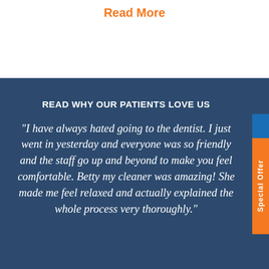Read More
READ WHY OUR PATIENTS LOVE US
“I have always hated going to the dentist. I just went in yesterday and everyone was so friendly and the staff go up and beyond to make you feel comfortable. Betty my cleaner was amazing! She made me feel relaxed and actually explained the whole process very thoroughly.”
Special Offer